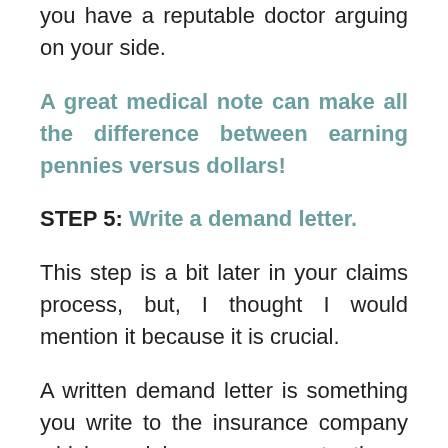you have a reputable doctor arguing on your side.
A great medical note can make all the difference between earning pennies versus dollars!
STEP 5: Write a demand letter.
This step is a bit later in your claims process, but, I thought I would mention it because it is crucial.
A written demand letter is something you write to the insurance company which explains your case to them, fully.
It tells: